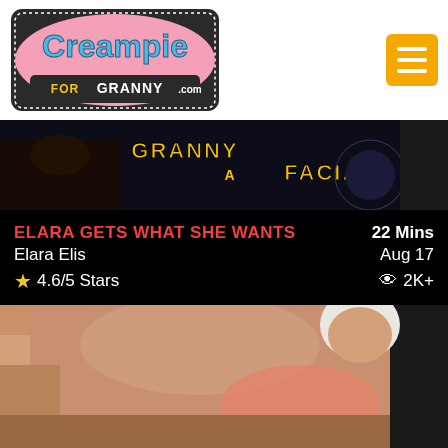[Figure (logo): Creampie For Granny .com logo with decorative border]
[Figure (screenshot): Video thumbnail showing text GRANNY A FACIAL on dark background]
ELARA GETS WHAT SHE WANTS
22 Mins
Elara Elis
Aug 17
★ 4.6/5 Stars
👁 2K+
[Figure (photo): Photo of older blonde woman in pink lingerie on a couch]